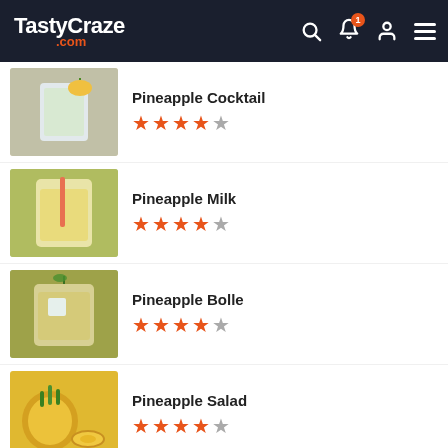TastyCraze.com
Pineapple Cocktail, 4/5 stars
Pineapple Milk, 4/5 stars
Pineapple Bolle, 4/5 stars
Pineapple Salad, 4/5 stars
[Figure (other): Advertisement banner for Crate & Barrel: Get VIP access to a Private Registry Morning online or in-store.]